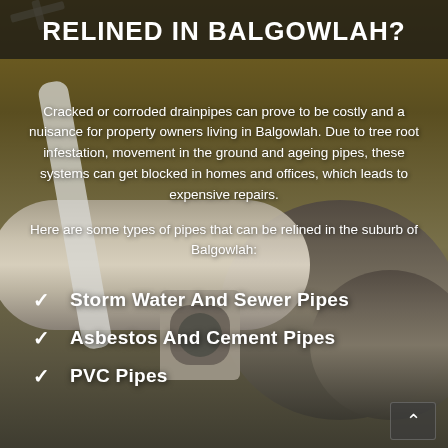[Figure (photo): Background image of industrial pipes, close-up view with warm brown/golden tones, showing pipe fittings and joints]
RELINED IN BALGOWLAH?
Cracked or corroded drainpipes can prove to be costly and a nuisance for property owners living in Balgowlah. Due to tree root infestation, movement in the ground and ageing pipes, these systems can get blocked in homes and offices, which leads to expensive repairs.
Here are some types of pipes that can be relined in the suburb of Balgowlah:
Storm Water And Sewer Pipes
Asbestos And Cement Pipes
PVC Pipes